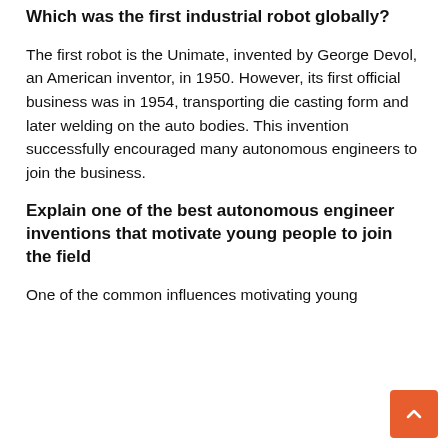Which was the first industrial robot globally?
The first robot is the Unimate, invented by George Devol, an American inventor, in 1950. However, its first official business was in 1954, transporting die casting form and later welding on the auto bodies. This invention successfully encouraged many autonomous engineers to join the business.
Explain one of the best autonomous engineer inventions that motivate young people to join the field
One of the common influences motivating young